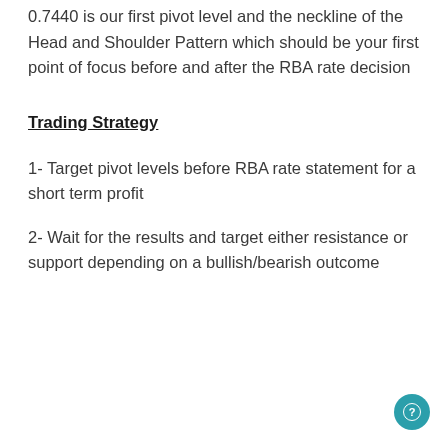0.7440 is our first pivot level and the neckline of the Head and Shoulder Pattern which should be your first point of focus before and after the RBA rate decision
Trading Strategy
1- Target pivot levels before RBA rate statement for a short term profit
2- Wait for the results and target either resistance or support depending on a bullish/bearish outcome